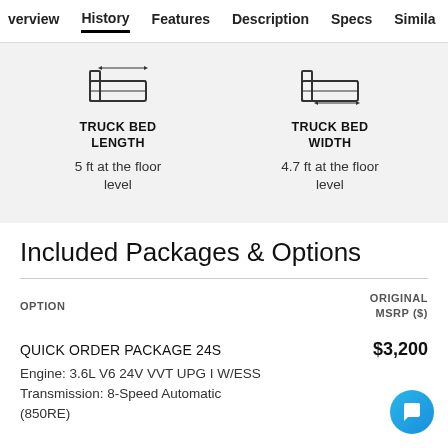verview  History  Features  Description  Specs  Simila
[Figure (infographic): Two truck bed icons side by side. Left: Truck Bed Length, 5 ft at the floor level. Right: Truck Bed Width, 4.7 ft at the floor level.]
Included Packages & Options
| OPTION | ORIGINAL MSRP ($) |
| --- | --- |
| QUICK ORDER PACKAGE 24S | $3,200 |
| Engine: 3.6L V6 24V VVT UPG I W/ESS
Transmission: 8-Speed Automatic (850RE) |  |